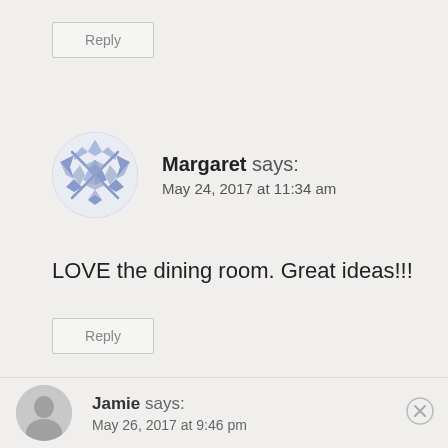Reply
Margaret says:
May 24, 2017 at 11:34 am
LOVE the dining room. Great ideas!!!
Reply
Jamie says:
May 26, 2017 at 9:46 pm